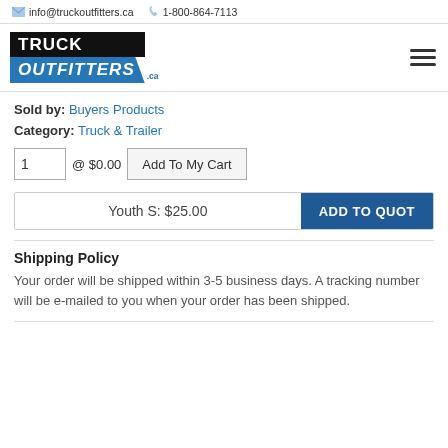info@truckoutfitters.ca  1-800-864-7113
[Figure (logo): Truck Outfitters .ca logo with black background for TRUCK and blue banner for OUTFITTERS]
Sold by: Buyers Products
Category: Truck & Trailer
1 @ $0.00 Add To My Cart
| Youth S: $25.00 | ADD TO QUOT |
Shipping Policy
Your order will be shipped within 3-5 business days. A tracking number will be e-mailed to you when your order has been shipped.